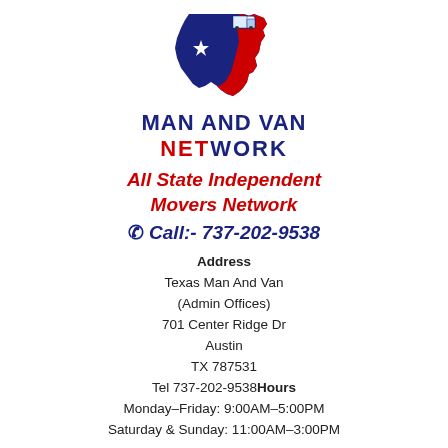[Figure (logo): Texas state shape logo with blue, red, white star and a moving van, for Man And Van Network]
MAN AND VAN NETWORK
All State Independent Movers Network
Call:- 737-202-9538
Address
Texas Man And Van (Admin Offices)
701 Center Ridge Dr
Austin
TX 787531
Tel 737-202-9538Hours
Monday–Friday: 9:00AM–5:00PM
Saturday & Sunday: 11:00AM–3:00PM
* First Name: